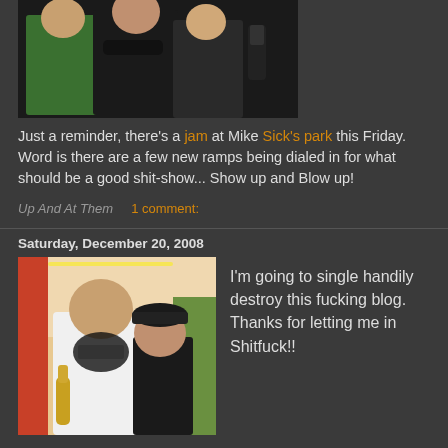[Figure (photo): Photo of three young men posing together, one in a green hoodie, one in a black jacket]
Just a reminder, there's a jam at Mike Sick's park this Friday. Word is there are a few new ramps being dialed in for what should be a good shit-show... Show up and Blow up!
Up And At Them   1 comment:
Saturday, December 20, 2008
[Figure (photo): Photo of two men indoors at a party, one in a white t-shirt with eagle graphic holding a bottle]
I'm going to single handily destroy this fucking blog. Thanks for letting me in Shitfuck!!